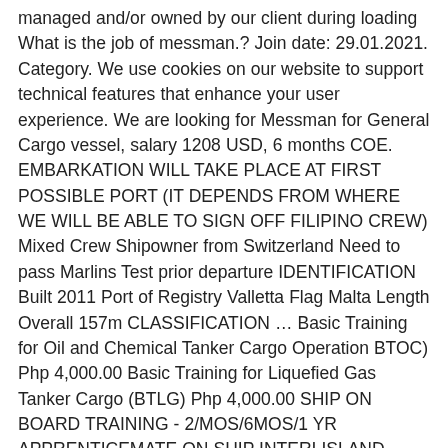managed and/or owned by our client during loading What is the job of messman.? Join date: 29.01.2021. Category. We use cookies on our website to support technical features that enhance your user experience. We are looking for Messman for General Cargo vessel, salary 1208 USD, 6 months COE. EMBARKATION WILL TAKE PLACE AT FIRST POSSIBLE PORT (IT DEPENDS FROM WHERE WE WILL BE ABLE TO SIGN OFF FILIPINO CREW) Mixed Crew Shipowner from Switzerland Need to pass Marlins Test prior departure IDENTIFICATION Built 2011 Port of Registry Valletta Flag Malta Length Overall 157m CLASSIFICATION … Basic Training for Oil and Chemical Tanker Cargo Operation BTOC) Php 4,000.00 Basic Training for Liquefied Gas Tanker Cargo (BTLG) Php 4,000.00 SHIP ON BOARD TRAINING - 2/MOS/6MOS/1 YR APPRENTICEMATE ON SHIP INTERI ISLAND WITH MONTHLY ALLOWANCE - (good for BSMARe,BSMT,SRC,HRM) GEN.CARGO / CONTAINER / TANKER / PASSENGER/ Inclusion of: … Category. Please enter the username you used in the registration. Sort by: relevance - date. The crew is the essence of all our a. Basic Training for Oil and Chemical Tanker Cargo Operation BTOC) Php 4,000.00 Basic